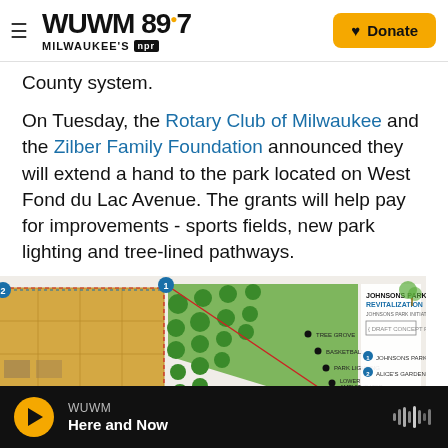WUWM 89.7 Milwaukee's NPR — Donate
County system.
On Tuesday, the Rotary Club of Milwaukee and the Zilber Family Foundation announced they will extend a hand to the park located on West Fond du Lac Avenue. The grants will help pay for improvements - sports fields, new park lighting and tree-lined pathways.
[Figure (map): Johnsons Park Revitalization draft concept plan map showing park layout with numbered sections (1: Johnsons Park, 2: Alice's Garden), sports fields grid, tree-lined areas, and various labeled features including tree grove, basketball, park lighting, lower amphitheater, new children's equipment, and sports field.]
WUWM — Here and Now